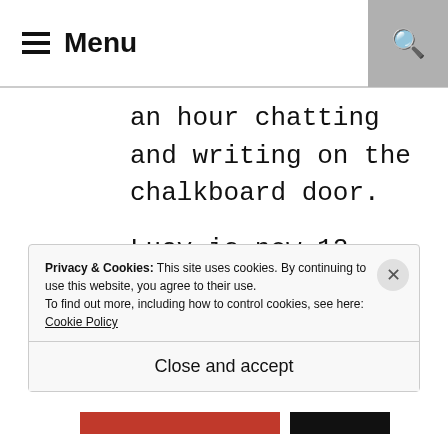Menu
an hour chatting and writing on the chalkboard door.

Lucy is now 12, and she still loves her little spot! Does my heart good!

We do not have plans, (trust me, I have asked hubby if he would be
Privacy & Cookies: This site uses cookies. By continuing to use this website, you agree to their use.
To find out more, including how to control cookies, see here:
Cookie Policy

Close and accept